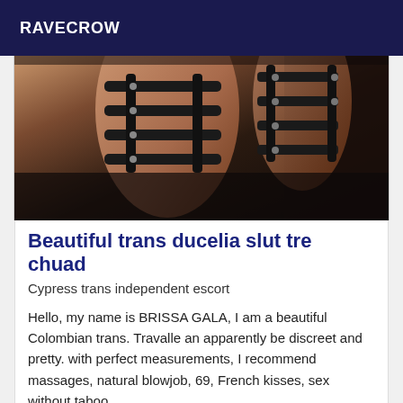RAVECROW
[Figure (photo): Photo showing a person wearing black leather body harness straps against a dark background]
Beautiful trans ducelia slut tre chuad
Cypress trans independent escort
Hello, my name is BRISSA GALA, I am a beautiful Colombian trans. Travalle an apparently be discreet and pretty. with perfect measurements, I recommend massages, natural blowjob, 69, French kisses, sex without taboo.
Online